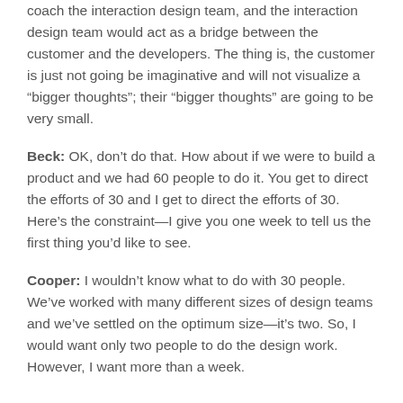coach the interaction design team, and the interaction design team would act as a bridge between the customer and the developers. The thing is, the customer is just not going be imaginative and will not visualize a “bigger thoughts”; their “bigger thoughts” are going to be very small.
Beck: OK, don’t do that. How about if we were to build a product and we had 60 people to do it. You get to direct the efforts of 30 and I get to direct the efforts of 30. Here’s the constraint—I give you one week to tell us the first thing you’d like to see.
Cooper: I wouldn’t know what to do with 30 people. We’ve worked with many different sizes of design teams and we’ve settled on the optimum size—it’s two. So, I would want only two people to do the design work. However, I want more than a week.